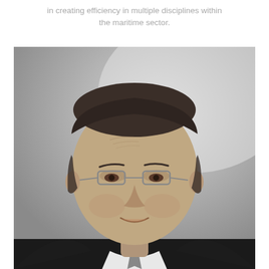in creating efficiency in multiple disciplines within the maritime sector.
[Figure (photo): Black and white professional headshot of a middle-aged man wearing glasses, a dark suit jacket, white shirt, and tie. He has short dark hair and is smiling slightly, photographed against a light grey gradient background.]